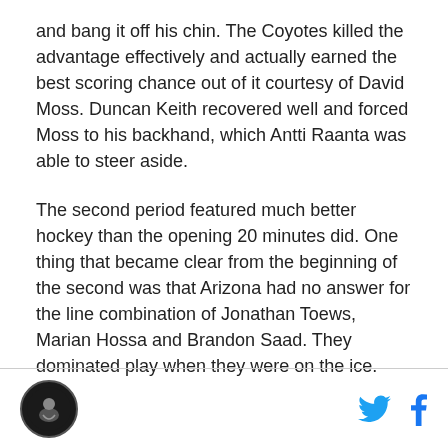and bang it off his chin. The Coyotes killed the advantage effectively and actually earned the best scoring chance out of it courtesy of David Moss. Duncan Keith recovered well and forced Moss to his backhand, which Antti Raanta was able to steer aside.
The second period featured much better hockey than the opening 20 minutes did. One thing that became clear from the beginning of the second was that Arizona had no answer for the line combination of Jonathan Toews, Marian Hossa and Brandon Saad. They dominated play when they were on the ice.
[logo] [twitter] [facebook]